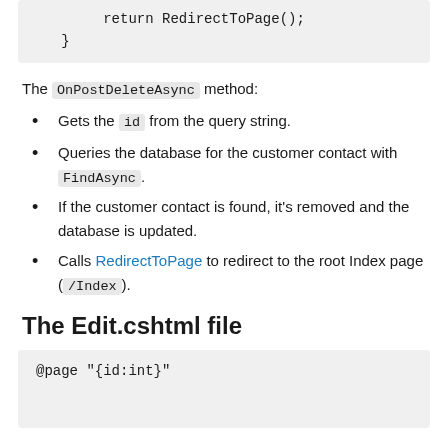[Figure (screenshot): Code block showing: return RedirectToPage(); }]
The OnPostDeleteAsync method:
Gets the id from the query string.
Queries the database for the customer contact with FindAsync.
If the customer contact is found, it's removed and the database is updated.
Calls RedirectToPage to redirect to the root Index page (/Index).
The Edit.cshtml file
[Figure (screenshot): Code block showing: @page "{id:int}"]